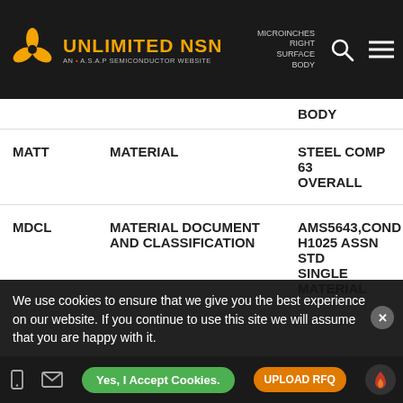UNLIMITED NSN — AN A.S.A.P SEMICONDUCTOR WEBSITE
| Code | Name | Value |
| --- | --- | --- |
|  | MICROINCHES RIGHT SURFACE BODY |  |
| MATT | MATERIAL | STEEL COMP 63 OVERALL |
| MDCL | MATERIAL DOCUMENT AND CLASSIFICATION | AMS5643,COND H1025 ASSN STD SINGLE MATERIAL RESPONSE OVERALL |
| SFTT | SURFACE TREATMENT | PASSIVATE OVERALL |
|  | SURFACE TREATMENT | SPEC SINGLE |
We use cookies to ensure that we give you the best experience on our website. If you continue to use this site we will assume that you are happy with it.
Yes, I Accept Cookies. | UPLOAD RFQ